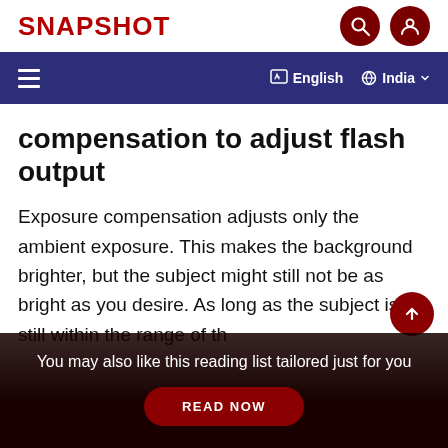SNAPSHOT
compensation to adjust flash output
Exposure compensation adjusts only the ambient exposure. This makes the background brighter, but the subject might still not be as bright as you desire. As long as the subject is still within the range of th
You may also like this reading list tailored just for you
READ NOW